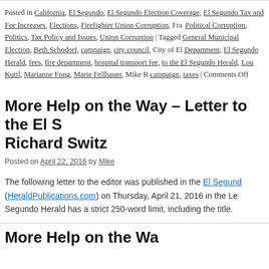Posted in California, El Segundo, El Segundo Election Coverage, El Segundo Tax and Fee Increases, Elections, Firefighter Union Corruption, Fra... Political Corruption, Politics, Tax Policy and Issues, Union Corruption | Tagged General Municipal Election, Beth Schodorf, campaign, city council, City of El... Department, El Segundo Herald, fees, fire department, hospital transport fee... to the El Segundo Herald, Lou Kutil, Marianne Fong, Marie Fellhauer, Mike R... campaign, taxes | Comments Off
More Help on the Way – Letter to the El S... Richard Switz
Posted on April 22, 2016 by Mike
The following letter to the editor was published in the El Segund... (HeraldPublications.com) on Thursday, April 21, 2016 in the Le... Segundo Herald has a strict 250-word limit, including the title.
More Help on the Wa...